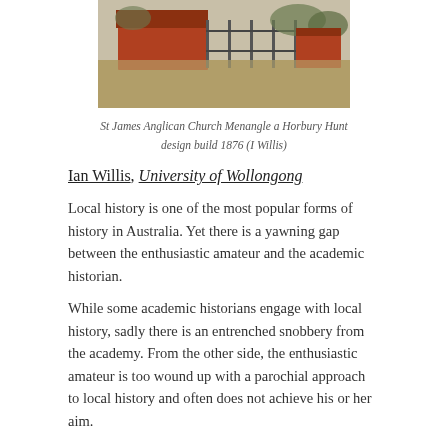[Figure (photo): Photograph of St James Anglican Church Menangle, a red brick building with a sloped roof, surrounded by grass and trees.]
St James Anglican Church Menangle a Horbury Hunt design build 1876 (I Willis)
Ian Willis, University of Wollongong
Local history is one of the most popular forms of history in Australia. Yet there is a yawning gap between the enthusiastic amateur and the academic historian.
While some academic historians engage with local history, sadly there is an entrenched snobbery from the academy. From the other side, the enthusiastic amateur is too wound up with a parochial approach to local history and often does not achieve his or her aim.